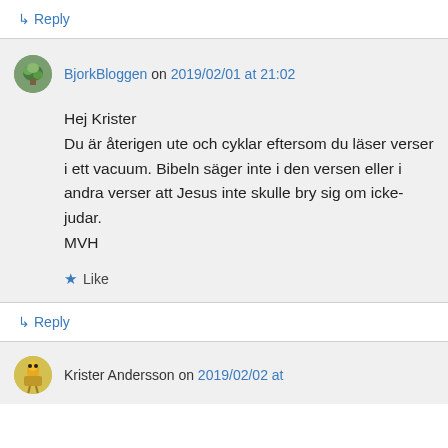↳ Reply
BjorkBloggen on 2019/02/01 at 21:02
Hej Krister
Du är återigen ute och cyklar eftersom du läser verser i ett vacuum. Bibeln säger inte i den versen eller i andra verser att Jesus inte skulle bry sig om icke-judar.
MVH
★ Like
↳ Reply
Krister Andersson on 2019/02/02 at